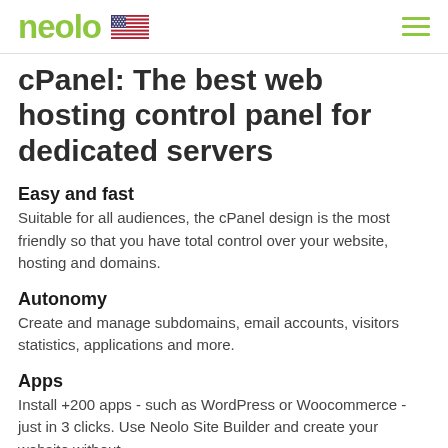neolo
cPanel: The best web hosting control panel for dedicated servers
Easy and fast
Suitable for all audiences, the cPanel design is the most friendly so that you have total control over your website, hosting and domains.
Autonomy
Create and manage subdomains, email accounts, visitors statistics, applications and more.
Apps
Install +200 apps - such as WordPress or Woocommerce - just in 3 clicks. Use Neolo Site Builder and create your website without